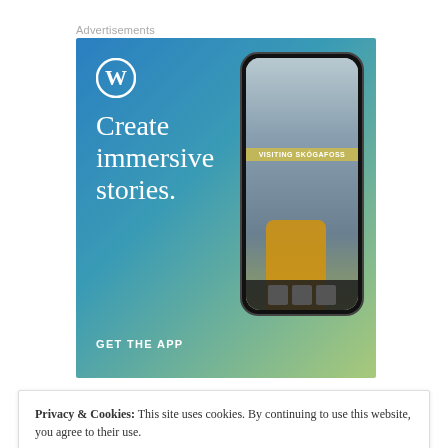Advertisements
[Figure (illustration): WordPress advertisement showing 'Create immersive stories.' tagline with a phone mockup displaying a waterfall scene labeled 'VISITING SKÓGAFOSS' and a 'GET THE APP' call to action. WordPress logo (W in circle) top left. Blue-to-yellow gradient background.]
Privacy & Cookies:  This site uses cookies. By continuing to use this website, you agree to their use.
To find out more, including how to control cookies, see here: Cookie Policy
Close and accept